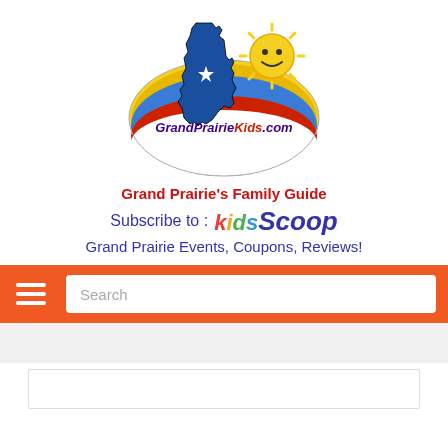[Figure (logo): GrandPrairieKids.com logo featuring Texas state shape in blue and red with a star, a smiling sun character, and the website name in colorful lettering on an oval background]
Grand Prairie's Family Guide
Subscribe to : Kids Scoop
Grand Prairie Events, Coupons, Reviews!
[Figure (screenshot): Orange navigation bar with hamburger menu icon on left and a search input box on right]